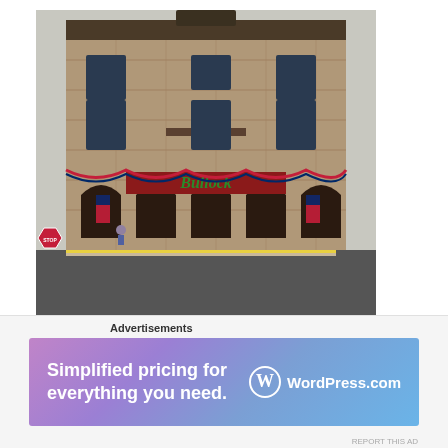[Figure (photo): Photograph of the Bullock Hotel, a multi-story stone building decorated with red, white and blue patriotic bunting banners. The building has arched doorways on the ground floor, a sign reading 'Bullock' above the entrance, American flags displayed, and ornate architectural details including a decorative parapet. A person is seated on the sidewalk in front. A stop sign is visible at the left. The building occupies a street corner.]
The Bullock Hotel is the oldest one in Deadwood, South Dakota. However, what's even more
Advertisements
[Figure (screenshot): WordPress.com advertisement banner with gradient background from purple to blue. Text reads 'Simplified pricing for everything you need.' with the WordPress.com logo on the right.]